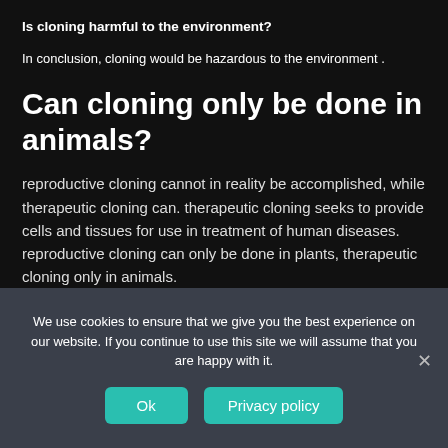Is cloning harmful to the environment?
In conclusion, cloning would be hazardous to the environment .
Can cloning only be done in animals?
reproductive cloning cannot in reality be accomplished, while therapeutic cloning can. therapeutic cloning seeks to provide cells and tissues for use in treatment of human diseases. reproductive cloning can only be done in plants, therapeutic cloning only in animals.
[Figure (screenshot): Partial thumbnail of a video/article with a TECH badge and title 'Why We Still Haven't Cloned Huma...' with a three-dot menu icon]
We use cookies to ensure that we give you the best experience on our website. If you continue to use this site we will assume that you are happy with it.